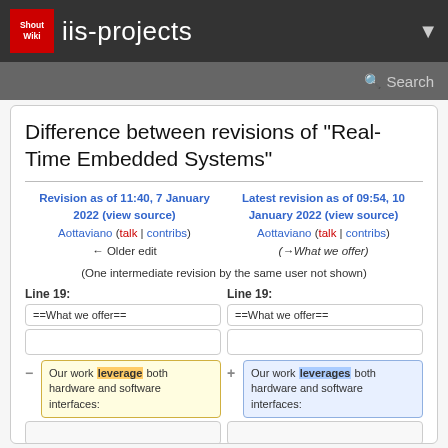iis-projects
Difference between revisions of "Real-Time Embedded Systems"
Revision as of 11:40, 7 January 2022 (view source)
Aottaviano (talk | contribs)
← Older edit
Latest revision as of 09:54, 10 January 2022 (view source)
Aottaviano (talk | contribs)
(→What we offer)
(One intermediate revision by the same user not shown)
Line 19:
Line 19:
==What we offer==
==What we offer==
Our work leverage both hardware and software interfaces:
Our work leverages both hardware and software interfaces: